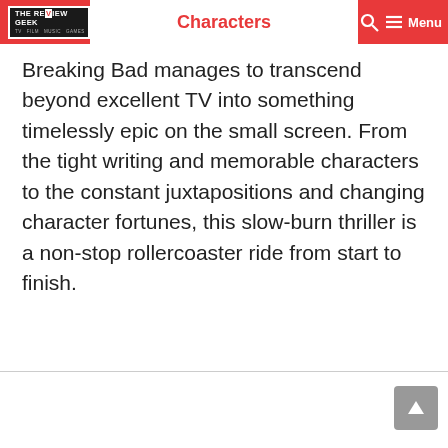THE REVIEW GEEK | Characters
Breaking Bad manages to transcend beyond excellent TV into something timelessly epic on the small screen. From the tight writing and memorable characters to the constant juxtapositions and changing character fortunes, this slow-burn thriller is a non-stop rollercoaster ride from start to finish.
[Figure (other): Scroll-to-top button with upward arrow icon]